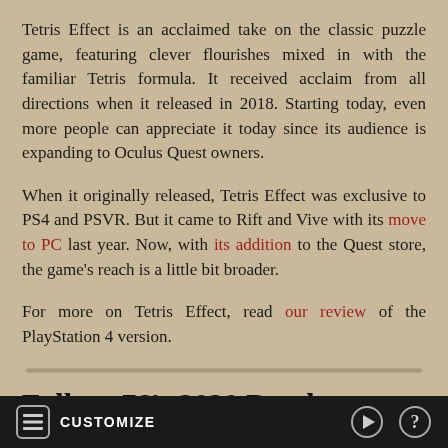Tetris Effect is an acclaimed take on the classic puzzle game, featuring clever flourishes mixed in with the familiar Tetris formula. It received acclaim from all directions when it released in 2018. Starting today, even more people can appreciate it today since its audience is expanding to Oculus Quest owners.
When it originally released, Tetris Effect was exclusive to PS4 and PSVR. But it came to Rift and Vive with its move to PC last year. Now, with its addition to the Quest store, the game's reach is a little bit broader.
For more on Tetris Effect, read our review of the PlayStation 4 version.
Fallout 76's 2020 Roadmap Includes Seasons, New Quests, And
CUSTOMIZE